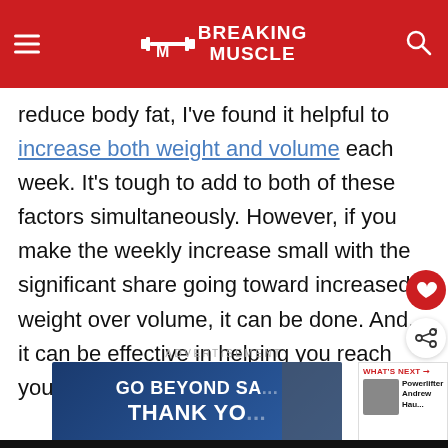Breaking Muscle
reduce body fat, I've found it helpful to increase both weight and volume each week. It's tough to add to both of these factors simultaneously. However, if you make the weekly increase small with the significant share going toward increased weight over volume, it can be done. And, it can be effective in helping you reach your goal.
ADVERTISEMENT
[Figure (photo): Advertisement banner showing military/firefighter themed image with text 'GO BEYOND SA... THANK YO...']
[Figure (screenshot): What's Next panel: Powerlifter Andrew Hau...]
[Figure (photo): Bottom advertisement banner: Thank you Operation Gratitude with firefighter group photo]